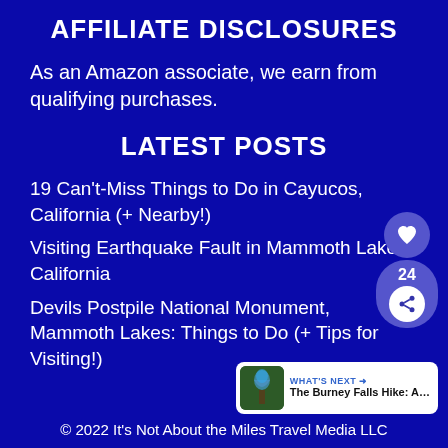AFFILIATE DISCLOSURES
As an Amazon associate, we earn from qualifying purchases.
LATEST POSTS
19 Can't-Miss Things to Do in Cayucos, California (+ Nearby!)
Visiting Earthquake Fault in Mammoth Lakes, California
Devils Postpile National Monument, Mammoth Lakes: Things to Do (+ Tips for Visiting!)
© 2022 It's Not About the Miles Travel Media LLC